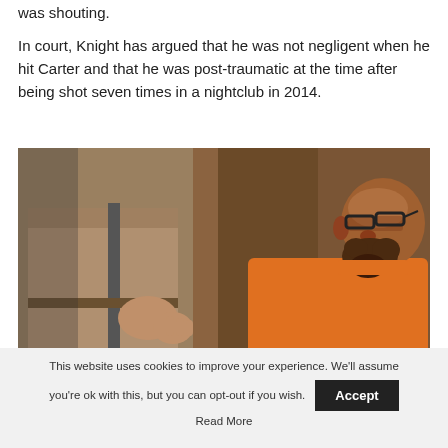was shouting.
In court, Knight has argued that he was not negligent when he hit Carter and that he was post-traumatic at the time after being shot seven times in a nightclub in 2014.
[Figure (photo): A man wearing an orange jail uniform, bald with glasses and a beard, seated in a courtroom setting, viewed in profile. A person in a tan uniform stands to his left.]
This website uses cookies to improve your experience. We'll assume you're ok with this, but you can opt-out if you wish. Accept Read More